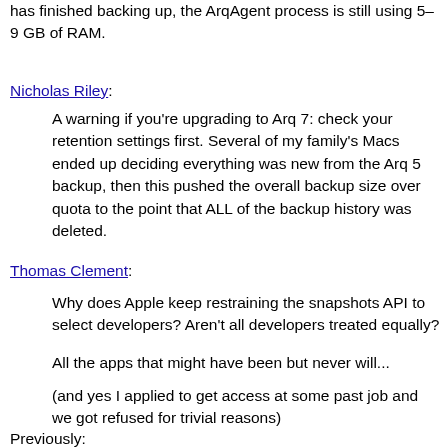has finished backing up, the ArqAgent process is still using 5–9 GB of RAM.
Nicholas Riley:
A warning if you're upgrading to Arq 7: check your retention settings first. Several of my family's Macs ended up deciding everything was new from the Arq 5 backup, then this pushed the overall backup size over quota to the point that ALL of the backup history was deleted.
Thomas Clement:
Why does Apple keep restraining the snapshots API to select developers? Aren't all developers treated equally?
All the apps that might have been but never will...
(and yes I applied to get access at some past job and we got refused for trivial reasons)
Previously: